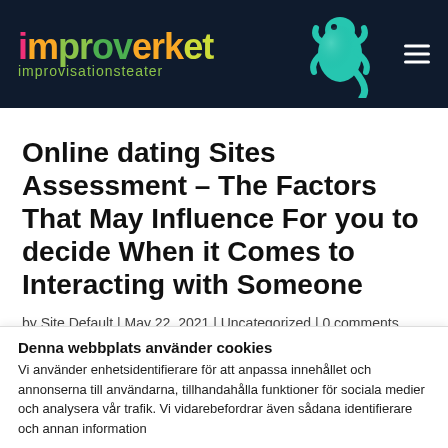[Figure (logo): Improverket improvisationsteater logo with colorful text and gecko illustration on dark navy background]
Online dating Sites Assessment – The Factors That May Influence For you to decide When it Comes to Interacting with Someone
by Site Default | May 22, 2021 | Uncategorized | 0 comments
Denna webbplats använder cookies
Vi använder enhetsidentifierare för att anpassa innehållet och annonserna till användarna, tillhandahålla funktioner för sociala medier och analysera vår trafik. Vi vidarebefordrar även sådana identifierare och annan information